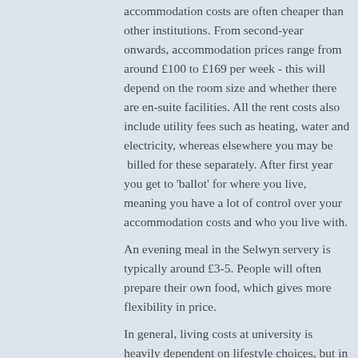accommodation costs are often cheaper than other institutions. From second-year onwards, accommodation prices range from around £100 to £169 per week - this will depend on the room size and whether there are en-suite facilities. All the rent costs also include utility fees such as heating, water and electricity, whereas elsewhere you may be billed for these separately. After first year you get to 'ballot' for where you live, meaning you have a lot of control over your accommodation costs and who you live with.
An evening meal in the Selwyn servery is typically around £3-5. People will often prepare their own food, which gives more flexibility in price.
In general, living costs at university is heavily dependent on lifestyle choices, but in our survey of Selwyn students on